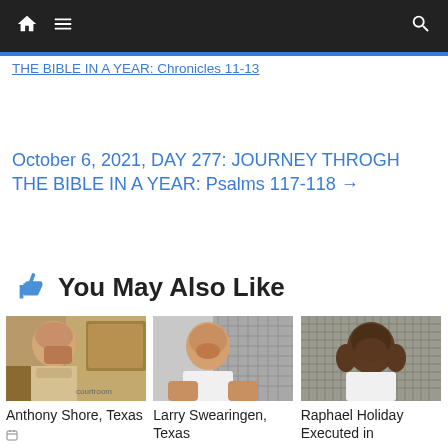Navigation bar with home, menu, and search icons
THE BIBLE IN A YEAR: Chronicles 11-13
October 6, 2021, DAY 277: JOURNEY THROGH THE BIBLE IN A YEAR: Psalms 117-118 →
👍 You May Also Like
[Figure (photo): Photo of Anthony Shore, Texas]
Anthony Shore, Texas
[Figure (photo): Photo of Larry Swearingen, Texas]
Larry Swearingen, Texas
[Figure (photo): Photo of Raphael Holiday]
Raphael Holiday Executed in